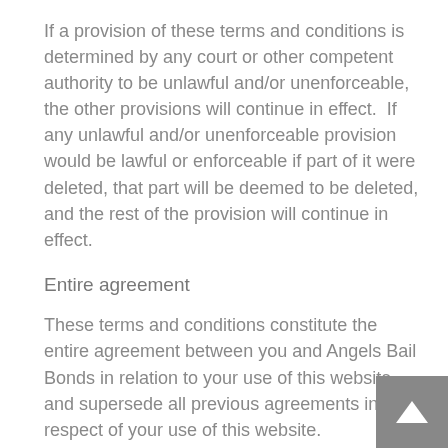If a provision of these terms and conditions is determined by any court or other competent authority to be unlawful and/or unenforceable, the other provisions will continue in effect.  If any unlawful and/or unenforceable provision would be lawful or enforceable if part of it were deleted, that part will be deemed to be deleted, and the rest of the provision will continue in effect.
Entire agreement
These terms and conditions constitute the entire agreement between you and Angels Bail Bonds in relation to your use of this website, and supersede all previous agreements in respect of your use of this website.
Law and Jurisdiction
These terms and conditions will be governed by and construed in accordance with California Law, and any disputes relating to these terms and conditions will be subject to the exclusive jurisdiction of the courts of